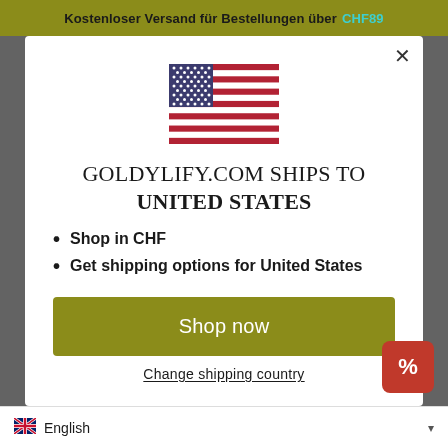Kostenloser Versand für Bestellungen über CHF89
[Figure (illustration): US flag icon centered in modal dialog]
GOLDYLIFY.COM SHIPS TO UNITED STATES
Shop in CHF
Get shipping options for United States
Shop now
Change shipping country
[Figure (screenshot): Red square button with percent sign (%) discount widget]
English